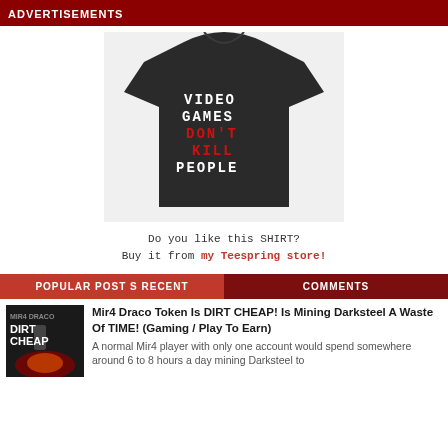ADVERTISEMENTS
[Figure (photo): Black t-shirt with pixel-art text reading VIDEO GAMES DON'T KILL PEOPLE, displayed on a light gray background.]
Do you like this SHIRT?
Buy it from my Teespring store!
POPULAR POSTS RECENT | COMMENTS
[Figure (photo): Thumbnail image for Mir4 Draco Token article showing dark gaming art with text DIRT CHEAP]
Mir4 Draco Token Is DIRT CHEAP! Is Mining Darksteel A Waste Of TIME! (Gaming / Play To Earn)
A normal Mir4 player with only one account would spend somewhere around 6 to 8 hours a day mining Darksteel to